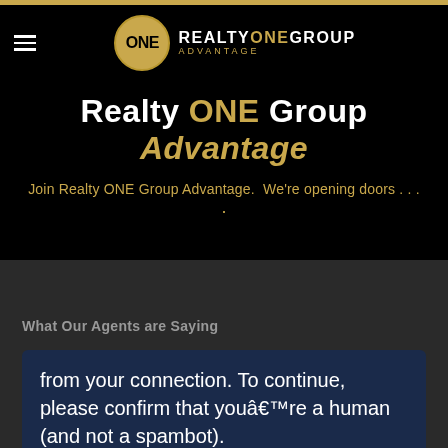[Figure (logo): Realty ONE Group Advantage logo with golden circle containing ONE text and company name]
Realty ONE Group Advantage
Join Realty ONE Group Advantage.  We're opening doors . . .
What Our Agents are Saying
from your connection. To continue, please confirm that youâ€™re a human (and not a spambot).